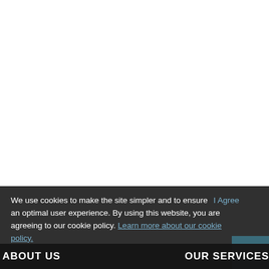We use cookies to make the site simpler and to ensure an optimal user experience. By using this website, you are agreeing to our cookie policy. Learn more about our cookie policy.
ABOUT US    OUR SERVICES